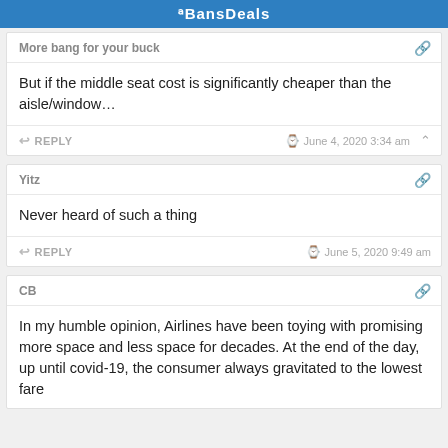BansDeals - More bang for your buck
But if the middle seat cost is significantly cheaper than the aisle/window…
REPLY  © June 4, 2020 3:34 am
Yitz
Never heard of such a thing
REPLY  © June 5, 2020 9:49 am
CB
In my humble opinion, Airlines have been toying with promising more space and less space for decades. At the end of the day, up until covid-19, the consumer always gravitated to the lowest fare